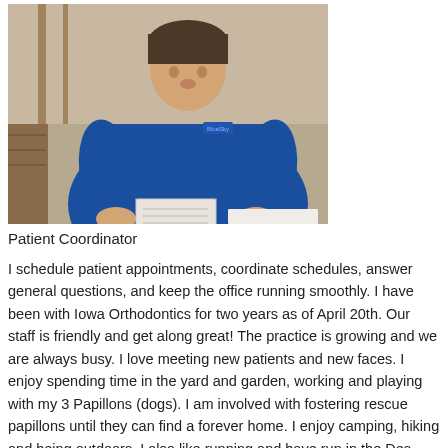[Figure (photo): A woman wearing a blue polo shirt holding a piece of paper, standing indoors. Photo taken from chest level.]
Patient Coordinator
I schedule patient appointments, coordinate schedules, answer general questions, and keep the office running smoothly. I have been with Iowa Orthodontics for two years as of April 20th. Our staff is friendly and get along great! The practice is growing and we are always busy. I love meeting new patients and new faces. I enjoy spending time in the yard and garden, working and playing with my 3 Papillons (dogs). I am involved with fostering rescue papillons until they can find a forever home. I enjoy camping, hiking and being outdoors. I also like running and have run in the Des Moines Half Marathon, Dam to Dam and several 5 and 10K